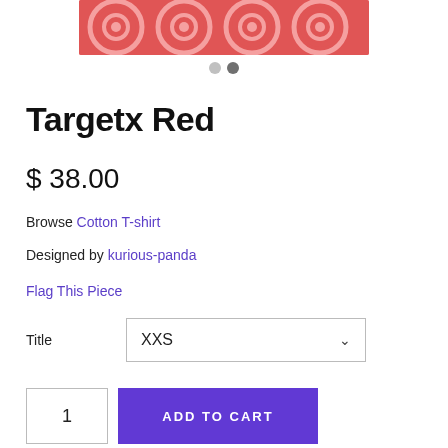[Figure (photo): Product image showing a red fabric with circular concentric ring pattern (target/bullseye design), partially cropped at top]
● ●
Targetx Red
$ 38.00
Browse Cotton T-shirt
Designed by kurious-panda
Flag This Piece
Title  XXS
1  ADD TO CART